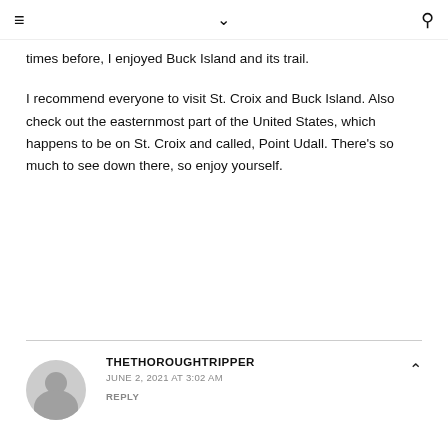≡  ∨  🔍
times before, I enjoyed Buck Island and its trail.
I recommend everyone to visit St. Croix and Buck Island. Also check out the easternmost part of the United States, which happens to be on St. Croix and called, Point Udall. There's so much to see down there, so enjoy yourself.
THETHOROUGHTRIPPER
JUNE 2, 2021 AT 3:02 AM
REPLY